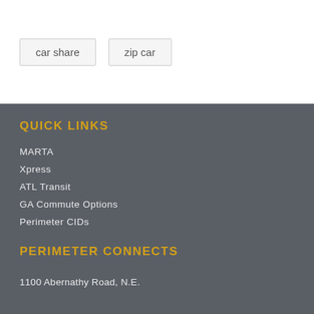car share
zip car
QUICK LINKS
MARTA
Xpress
ATL Transit
GA Commute Options
Perimeter CIDs
PERIMETER CONNECTS
1100 Abernathy Road, N.E.